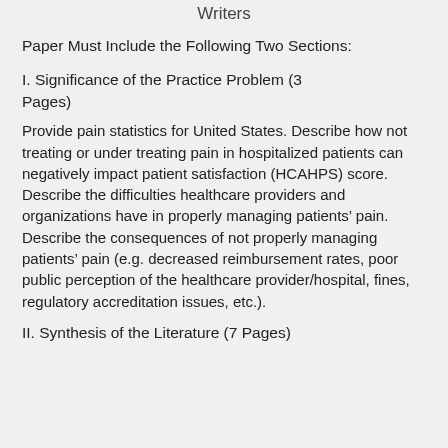Writers
Paper Must Include the Following Two Sections:
I. Significance of the Practice Problem (3 Pages)
Provide pain statistics for United States. Describe how not treating or under treating pain in hospitalized patients can negatively impact patient satisfaction (HCAHPS) score. Describe the difficulties healthcare providers and organizations have in properly managing patients’ pain. Describe the consequences of not properly managing patients’ pain (e.g. decreased reimbursement rates, poor public perception of the healthcare provider/hospital, fines, regulatory accreditation issues, etc.).
II. Synthesis of the Literature (7 Pages)